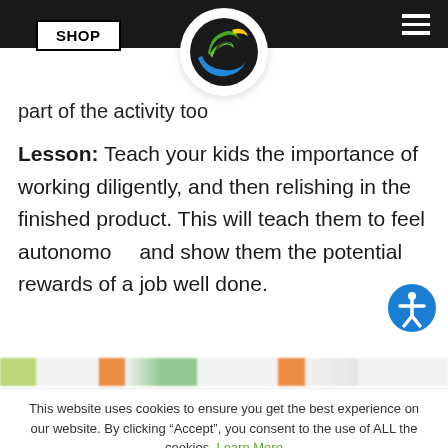[Figure (logo): Birdsong or nature-themed logo: circular badge with colorful bird/leaf design in green, yellow, blue on dark background]
part of the activity too
Lesson: Teach your kids the importance of working diligently, and then relishing in the finished product. This will teach them to feel autonomous and show them the potential rewards of a job well done.
[Figure (screenshot): Blurred navigation/pagination strip with colored elements]
This website uses cookies to ensure you get the best experience on our website. By clicking “Accept”, you consent to the use of ALL the cookies. Learn More
Accept